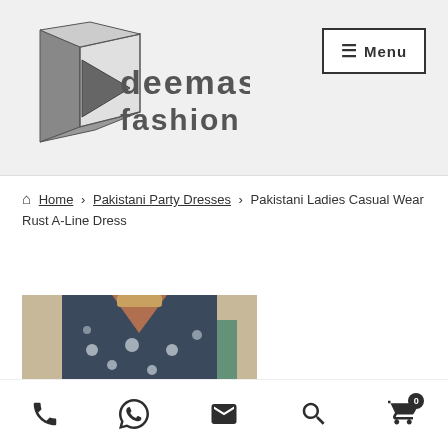[Figure (logo): Deemas Fashion logo with geometric play icon and stylized text]
≡ Menu
🏠 Home › Pakistani Party Dresses › Pakistani Ladies Casual Wear Rust A-Line Dress
[Figure (photo): A floral printed dress with V-neck on a hanger displayed in a shop]
Phone | WhatsApp | Email | Search | Cart (0)